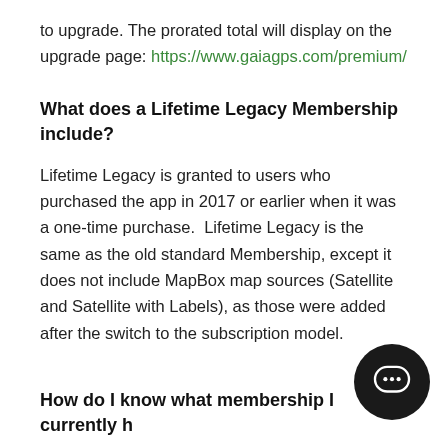to upgrade. The prorated total will display on the upgrade page: https://www.gaiagps.com/premium/
What does a Lifetime Legacy Membership include?
Lifetime Legacy is granted to users who purchased the app in 2017 or earlier when it was a one-time purchase.  Lifetime Legacy is the same as the old standard Membership, except it does not include MapBox map sources (Satellite and Satellite with Labels), as those were added after the switch to the subscription model.
How do I know what membership I currently h…